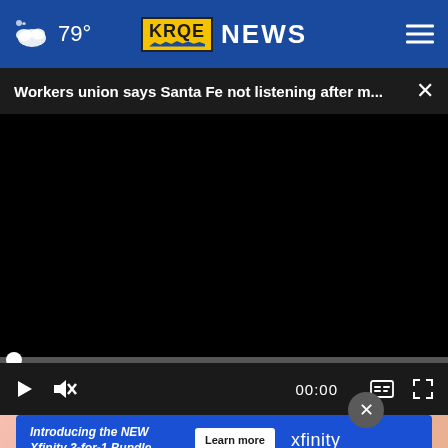79° KRQE NEWS
Workers union says Santa Fe not listening after m... ×
[Figure (screenshot): Black video player area with progress bar at bottom showing 00:00 timestamp and playback controls including play, mute, captions, and fullscreen buttons]
[Figure (screenshot): Advertisement banner: Introducing the NEW Xfinity 3-for-1 Bundle. Learn more button. xfinity logo. Background shows a hand with pink nails.]